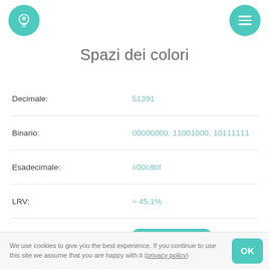Spazi dei colori
Spazi dei colori
Decimale: 51391
Binario: 00000000, 11001000, 10111111
Esadecimale: #00c8bf
LRV: ≈ 45.1%
Esagono corto più vicino: #8cb ΔE = 2.798
RGB: rgb(0, 200, 191)
RGBA: rgba(0, 200, 191, 1.0)
rg cromaticità: r: 0.000, g: 0.512, b: 0.488
We use cookies to give you the best experience. If you continue to use this site we assume that you are happy with it (privacy policy)